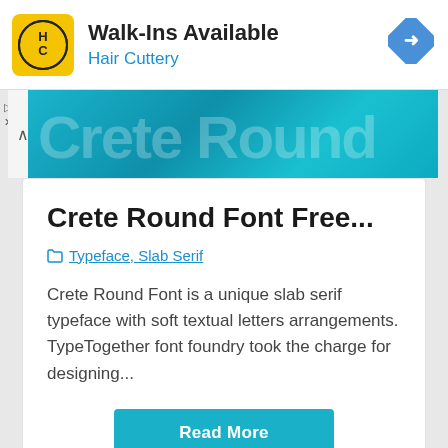[Figure (screenshot): Hair Cuttery advertisement banner with yellow HC logo, bold text 'Walk-Ins Available', blue subtitle 'Hair Cuttery', and a blue diamond navigation icon on the right]
[Figure (screenshot): Partial teal/blue image strip showing large stylized font text in the background]
Crete Round Font Free...
Typeface, Slab Serif
Crete Round Font is a unique slab serif typeface with soft textual letters arrangements. TypeTogether font foundry took the charge for designing...
Read More